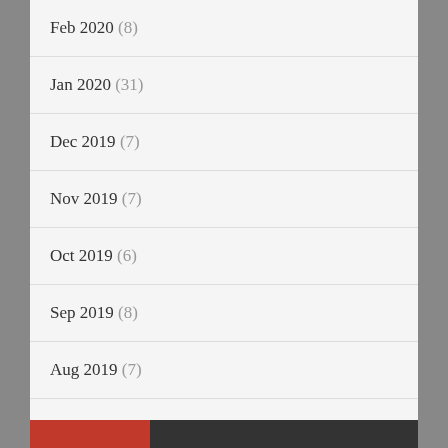Feb 2020 (8)
Jan 2020 (31)
Dec 2019 (7)
Nov 2019 (7)
Oct 2019 (6)
Sep 2019 (8)
Aug 2019 (7)
Privacy & Cookies: This site uses cookies. By continuing to use this website, you agree to their use.
To find out more, including how to control cookies, see here: Cookie Policy
Close and accept